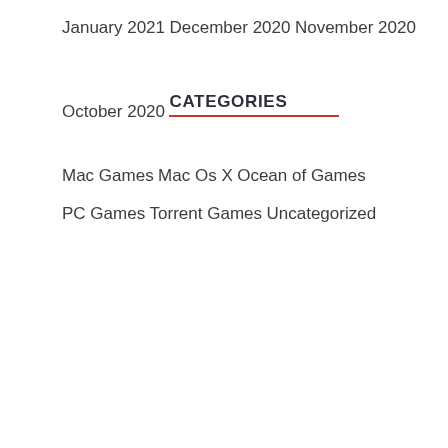January 2021
December 2020
November 2020
October 2020
CATEGORIES
Mac Games
Mac Os X
Ocean of Games
PC Games
Torrent Games
Uncategorized